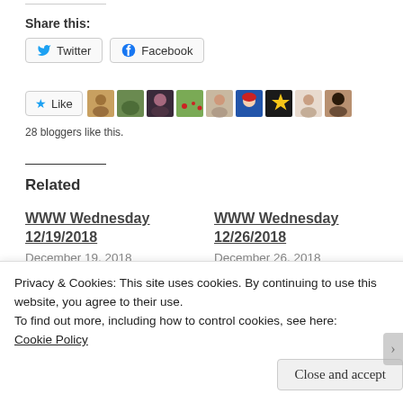Share this:
Twitter  Facebook
[Figure (other): Like button with star icon followed by a row of blogger avatar thumbnails]
28 bloggers like this.
Related
WWW Wednesday 12/19/2018
December 19, 2018
WWW Wednesday 12/26/2018
December 26, 2018
Privacy & Cookies: This site uses cookies. By continuing to use this website, you agree to their use.
To find out more, including how to control cookies, see here:
Cookie Policy